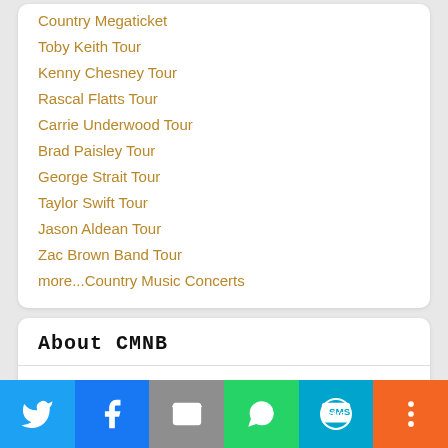Country Megaticket
Toby Keith Tour
Kenny Chesney Tour
Rascal Flatts Tour
Carrie Underwood Tour
Brad Paisley Tour
George Strait Tour
Taylor Swift Tour
Jason Aldean Tour
Zac Brown Band Tour
more...Country Music Concerts
About CMNB
CMNB has covered mainstream country music news, album reviews, concert announcements, contests and giveaways since 2007. CMNB uses its direct relationships with both fans, artists, and promoters to produce unique and often exclusive content not found on other major